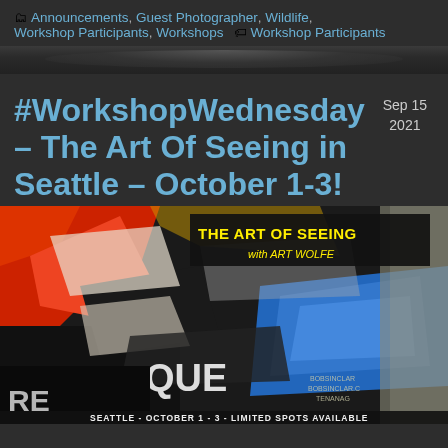🗂 Announcements, Guest Photographer, Wildlife, Workshop Participants, Workshops 🏷 Workshop Participants
#WorkshopWednesday – The Art Of Seeing in Seattle – October 1-3!
Sep 15 2021
[Figure (photo): Promotional image for 'The Art of Seeing with Art Wolfe' workshop showing colorful torn street posters with red, blue, black, white colors. Text overlay reads 'THE ART OF SEEING with ART WOLFE' in yellow on black banner. Bottom text: 'SEATTLE - OCTOBER 1-3 - LIMITED SPOTS AVAILABLE'. Small text: BOBSINCLAR, BOBSINCLAR.C, TENANAG]